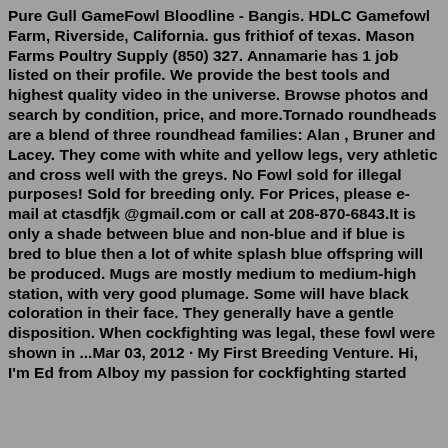Pure Gull GameFowl Bloodline - Bangis. HDLC Gamefowl Farm, Riverside, California. gus frithiof of texas. Mason Farms Poultry Supply (850) 327. Annamarie has 1 job listed on their profile. We provide the best tools and highest quality video in the universe. Browse photos and search by condition, price, and more.Tornado roundheads are a blend of three roundhead families: Alan , Bruner and Lacey. They come with white and yellow legs, very athletic and cross well with the greys. No Fowl sold for illegal purposes! Sold for breeding only. For Prices, please e-mail at ctasdfjk @gmail.com or call at 208-870-6843.It is only a shade between blue and non-blue and if blue is bred to blue then a lot of white splash blue offspring will be produced. Mugs are mostly medium to medium-high station, with very good plumage. Some will have black coloration in their face. They generally have a gentle disposition. When cockfighting was legal, these fowl were shown in ...Mar 03, 2012 · My First Breeding Venture. Hi, I'm Ed from Alboy my passion for cockfighting started